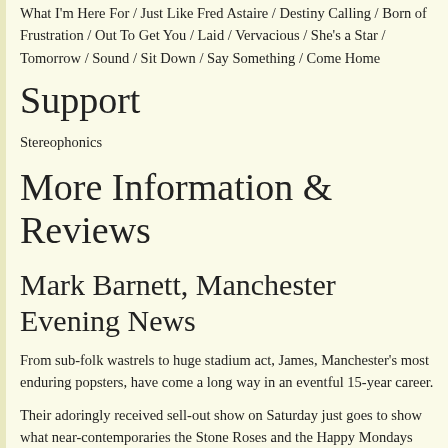What I'm Here For / Just Like Fred Astaire / Destiny Calling / Born of Frustration / Out To Get You / Laid / Vervacious / She's a Star / Tomorrow / Sound / Sit Down / Say Something / Come Home
Support
Stereophonics
More Information & Reviews
Mark Barnett, Manchester Evening News
From sub-folk wastrels to huge stadium act, James, Manchester's most enduring popsters, have come a long way in an eventful 15-year career.
Their adoringly received sell-out show on Saturday just goes to show what near-contemporaries the Stone Roses and the Happy Mondays could have achieved had they not pressed their self-destruct buttons in such